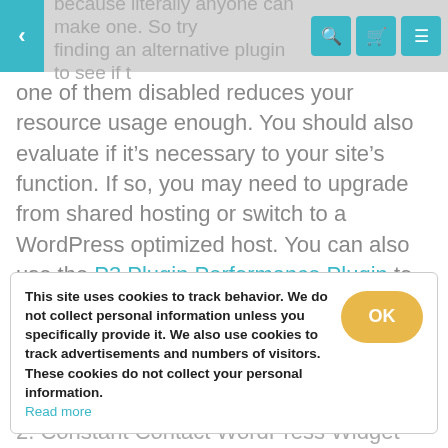because literally anyone can make one. So try finding an alternative plugin to see if [one of them disabled reduces your resource usage enough.]
one of them disabled reduces your resource usage enough. You should also evaluate if it's necessary to your site's function. If so, you may need to upgrade from shared hosting or switch to a WordPress optimized host. You can also use the P3 Plugin Performance Plugin to help you figure out which WordPress plugins create the biggest problem.
Below is a list of plugins many hosts say cause large amounts of resource usage
This site uses cookies to track behavior. We do not collect personal information unless you specifically provide it. We also use cookies to track advertisements and numbers of visitors. These cookies do not collect your personal information. Read more
2. Constant Contact WordPress Widget